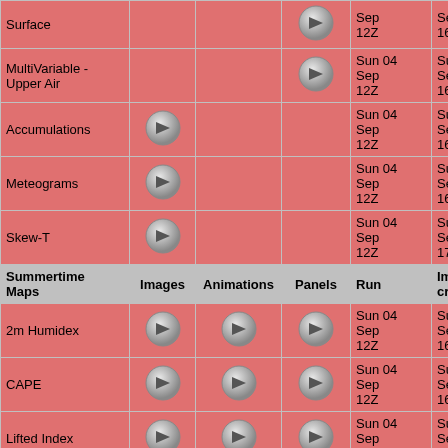|  | Images | Animations | Panels | Run | Images created on: |
| --- | --- | --- | --- | --- | --- |
| Surface |  |  | → | Sep 12Z | Sep at 16:59Z |
| MultiVariable - Upper Air |  |  | → | Sun 04 Sep 12Z | Sun 04 Sep at 16:59Z |
| Accumulations | → |  |  | Sun 04 Sep 12Z | Sun 04 Sep at 16:38Z |
| Meteograms | → |  |  | Sun 04 Sep 12Z | Sun 04 Sep at 16:31Z |
| Skew-T | → |  |  | Sun 04 Sep 12Z | Sun 04 Sep at 17:14Z |
| Summertime Maps | Images | Animations | Panels | Run | Images created on: |
| 2m Humidex | → | → | → | Sun 04 Sep 12Z | Sun 04 Sep at 16:47Z |
| CAPE | → | → | → | Sun 04 Sep 12Z | Sun 04 Sep at 16:50Z |
| Lifted Index | → | → | → | Sun 04 Sep 12Z | Sun 04 Sep at 16:51Z |
| Energy Helicity Index | → | → | → | Sun 04 Sep 12Z | Sun 04 Sep at 16:52Z |
| Precipitable... | → | → | → | Sun 04 | Sun 04 |